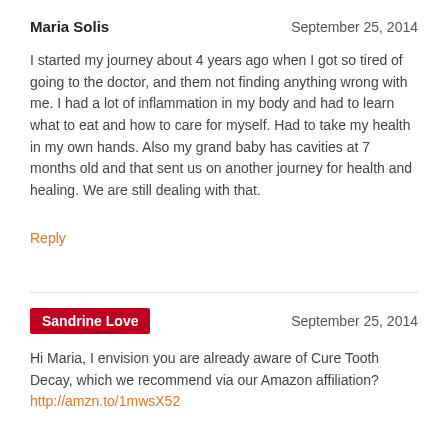Maria Solis
September 25, 2014
I started my journey about 4 years ago when I got so tired of going to the doctor, and them not finding anything wrong with me. I had a lot of inflammation in my body and had to learn what to eat and how to care for myself. Had to take my health in my own hands. Also my grand baby has cavities at 7 months old and that sent us on another journey for health and healing. We are still dealing with that.
Reply
Sandrine Love
September 25, 2014
Hi Maria, I envision you are already aware of Cure Tooth Decay, which we recommend via our Amazon affiliation? http://amzn.to/1mwsX52